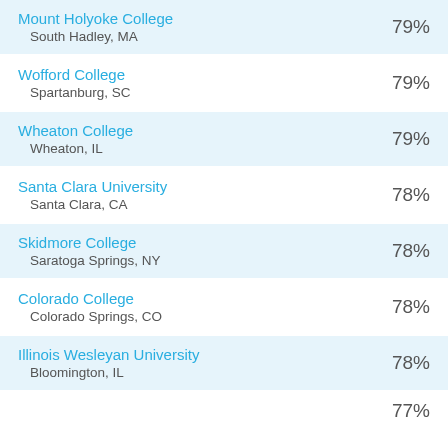Mount Holyoke College, South Hadley, MA — 79%
Wofford College, Spartanburg, SC — 79%
Wheaton College, Wheaton, IL — 79%
Santa Clara University, Santa Clara, CA — 78%
Skidmore College, Saratoga Springs, NY — 78%
Colorado College, Colorado Springs, CO — 78%
Illinois Wesleyan University, Bloomington, IL — 78%
— 77%